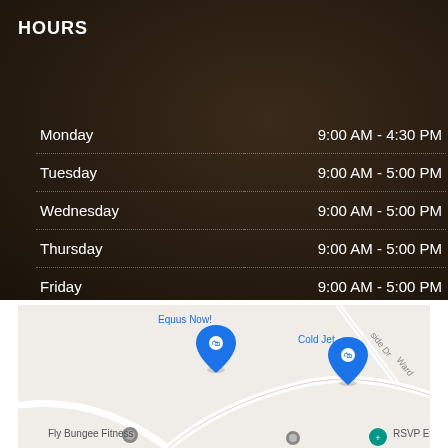HOURS
| Day | Hours |
| --- | --- |
| Monday | 9:00 AM - 4:30 PM |
| Tuesday | 9:00 AM - 5:00 PM |
| Wednesday | 9:00 AM - 5:00 PM |
| Thursday | 9:00 AM - 5:00 PM |
| Friday | 9:00 AM - 5:00 PM |
| Saturday | By Appointment |
[Figure (map): Google Maps screenshot showing location with pins for Equus Now!, Cold Jet, Fly Bungee Fitness, and RSVP Ev... visible. Street labels include side Dr and Ward road segments.]